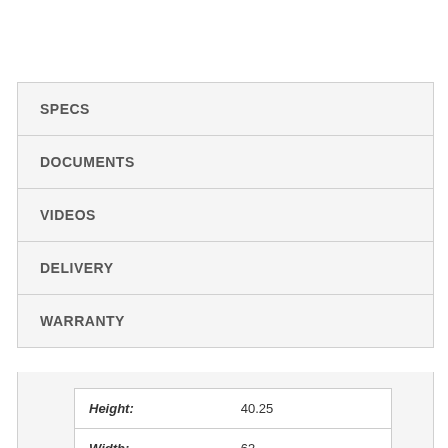SPECS
DOCUMENTS
VIDEOS
DELIVERY
WARRANTY
|  |  |
| --- | --- |
| Height: | 40.25 |
| Width: | 63 |
| Length/Depth: | 20.25 |